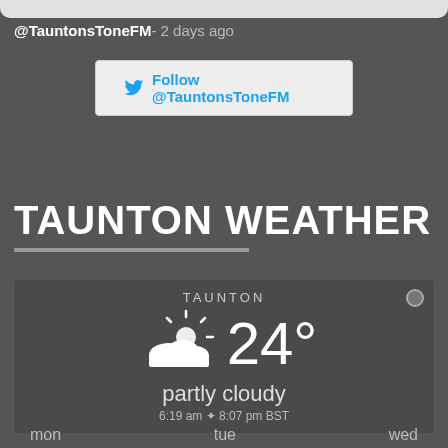@TauntonsToneFM - 2 days ago
[Figure (other): Twitter Follow button for @TauntonsToneFM]
TAUNTON WEATHER
[Figure (infographic): Weather widget showing TAUNTON, partly cloudy, 24 degrees, sunrise 6:19 am, sunset 8:07 pm BST]
mon   tue   wed